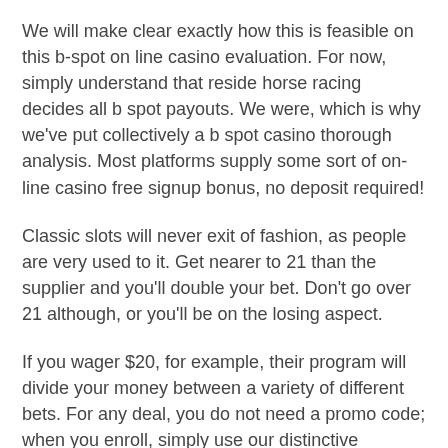We will make clear exactly how this is feasible on this b-spot on line casino evaluation. For now, simply understand that reside horse racing decides all b spot payouts. We were, which is why we've put collectively a b spot casino thorough analysis. Most platforms supply some sort of on-line casino free signup bonus, no deposit required!
Classic slots will never exit of fashion, as people are very used to it. Get nearer to 21 than the supplier and you'll double your bet. Don't go over 21 although, or you'll be on the losing aspect.
If you wager $20, for example, their program will divide your money between a variety of different bets. For any deal, you do not need a promo code; when you enroll, simply use our distinctive hyperlinks. Minimum deposit $20 to say the 100 percent deposit match bonus. Addicts who encounter the games on their own, without the kind of steering Lawrence